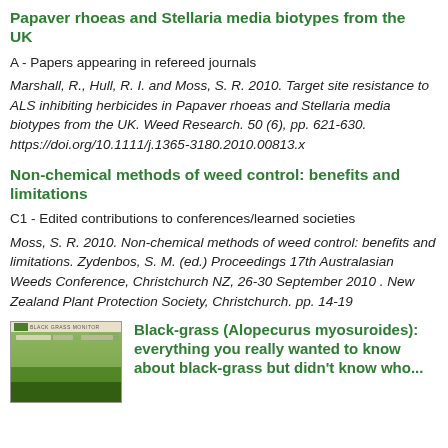Papaver rhoeas and Stellaria media biotypes from the UK
A - Papers appearing in refereed journals
Marshall, R., Hull, R. I. and Moss, S. R. 2010. Target site resistance to ALS inhibiting herbicides in Papaver rhoeas and Stellaria media biotypes from the UK. Weed Research. 50 (6), pp. 621-630. https://doi.org/10.1111/j.1365-3180.2010.00813.x
Non-chemical methods of weed control: benefits and limitations
C1 - Edited contributions to conferences/learned societies
Moss, S. R. 2010. Non-chemical methods of weed control: benefits and limitations. Zydenbos, S. M. (ed.) Proceedings 17th Australasian Weeds Conference, Christchurch NZ, 26-30 September 2010 . New Zealand Plant Protection Society, Christchurch. pp. 14-19
[Figure (photo): Thumbnail image of a document or publication page with a green plant/crop field background]
Black-grass (Alopecurus myosuroides): everything you really wanted to know about black-grass but didn't know who...